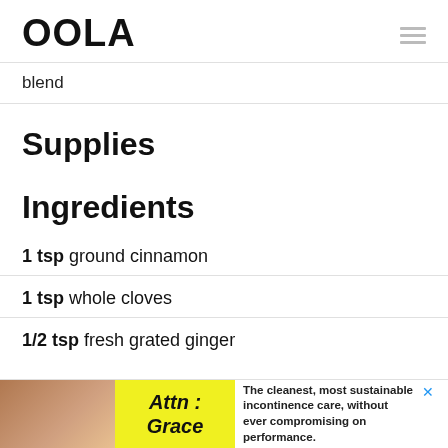OOLA
blend
Supplies
Ingredients
1 tsp ground cinnamon
1 tsp whole cloves
1/2 tsp fresh grated ginger
[Figure (infographic): Advertisement banner at the bottom: photo of person, Attn: Grace yellow block, text about incontinence care product]